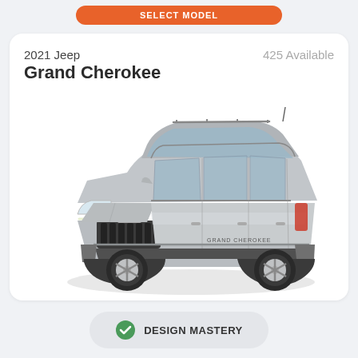[Figure (screenshot): Orange 'SELECT MODEL' button at top of mobile app screen]
2021 Jeep Grand Cherokee
425 Available
[Figure (photo): 2021 Jeep Grand Cherokee silver SUV product image on white background, three-quarter front view]
DESIGN MASTERY